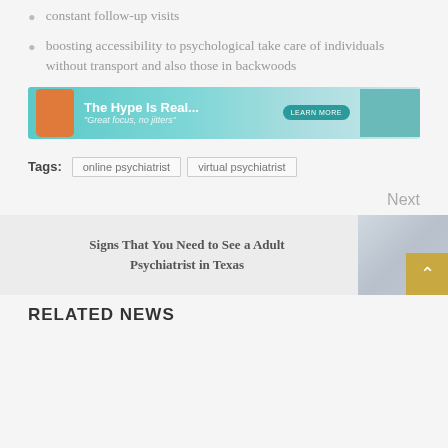constant follow-up visits
boosting accessibility to psychological take care of individuals without transport and also those in backwoods
[Figure (photo): Advertisement banner: 'The Hype Is Real... Great focus, no jitters' with supplement bottle and hands holding pills, teal background, Learn More button]
Tags: online psychiatrist  virtual psychiatrist
Next
Signs That You Need to See a Adult Psychiatrist in Texas
RELATED NEWS